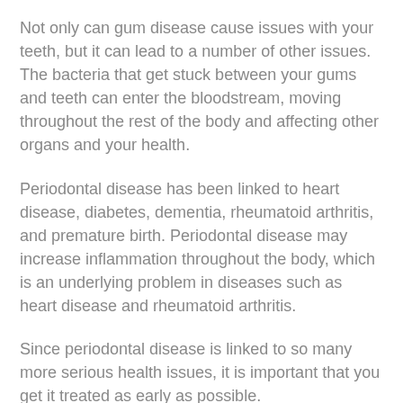Not only can gum disease cause issues with your teeth, but it can lead to a number of other issues. The bacteria that get stuck between your gums and teeth can enter the bloodstream, moving throughout the rest of the body and affecting other organs and your health.
Periodontal disease has been linked to heart disease, diabetes, dementia, rheumatoid arthritis, and premature birth. Periodontal disease may increase inflammation throughout the body, which is an underlying problem in diseases such as heart disease and rheumatoid arthritis.
Since periodontal disease is linked to so many more serious health issues, it is important that you get it treated as early as possible.
If you notice any of the symptoms of gum disease or you simply want to prevent as much as possible, be sure to schedule an appointment at Aspen Hill Dental in Wheat Ridge. We can